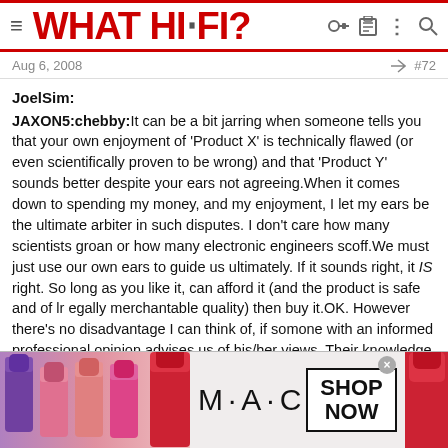WHAT HI·FI?
Aug 6, 2008  #72
JoelSim:
JAXON5:chebby:It can be a bit jarring when someone tells you that your own enjoyment of 'Product X' is technically flawed (or even scientifically proven to be wrong) and that 'Product Y' sounds better despite your ears not agreeing.When it comes down to spending my money, and my enjoyment, I let my ears be the ultimate arbiter in such disputes. I don't care how many scientists groan or how many electronic engineers scoff.We must just use our own ears to guide us ultimately. If it sounds right, it IS right. So long as you like it, can afford it (and the product is safe and of lr egally merchantable quality) then buy it.OK. However there's no disadvantage I can think of, if somone with an informed professional opinion advises us of his/her views. Their knowledge of the subject has to count for something, and when its thrown back in their faces, I can see the
[Figure (advertisement): M·A·C cosmetics advertisement showing lipsticks with SHOP NOW button]